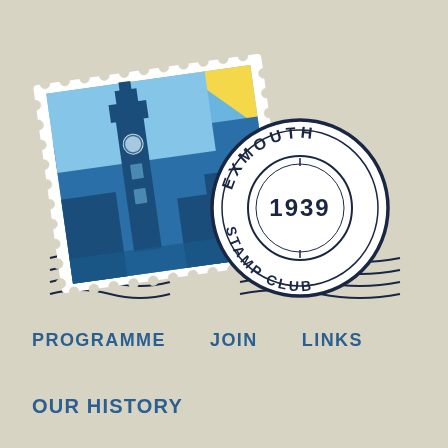[Figure (logo): Exmouth Stamp Club logo: a postage stamp illustration featuring a blue lighthouse/tower on a blue and yellow background with perforated edges, overlaid with a circular postmark reading 'EXMOUTH STAMP CLUB 1939', with decorative wavy cancellation lines below]
PROGRAMME   JOIN   LINKS
OUR HISTORY